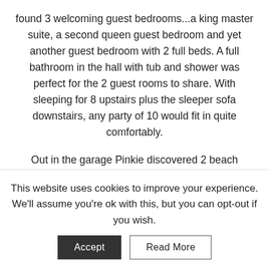found 3 welcoming guest bedrooms...a king master suite, a second queen guest bedroom and yet another guest bedroom with 2 full beds. A full bathroom in the hall with tub and shower was perfect for the 2 guest rooms to share. With sleeping for 8 upstairs plus the sleeper sofa downstairs, any party of 10 would fit in quite comfortably.
Out in the garage Pinkie discovered 2 beach cruiser bikes and beach gear plus a brand new 6-seater golf cart. Beach access was just down 30A in either direction so having this cart included made the trip to
This website uses cookies to improve your experience. We'll assume you're ok with this, but you can opt-out if you wish.